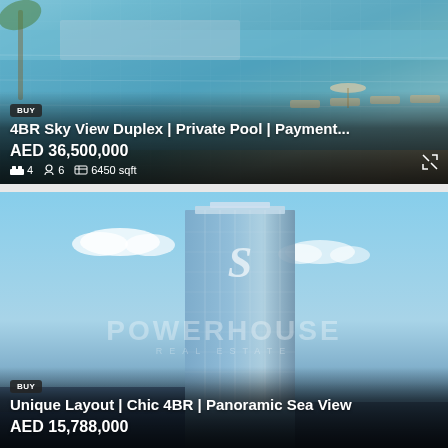[Figure (photo): Aerial view of a luxury resort-style infinity pool with lounge chairs, umbrellas, and beach area in the background. Property listing card overlay showing BUY badge, title, price, and specs.]
BUY
4BR Sky View Duplex | Private Pool | Payment...
AED 36,500,000
4  6  6450 sqft
[Figure (photo): Render of a glass skyscraper tower with an S-logo watermark and POWERHOUSE REAL ESTATE watermark overlay. Blue sky with clouds in background. Listing card overlay at the bottom.]
BUY
Unique Layout | Chic 4BR | Panoramic Sea View
AED 15,788,000